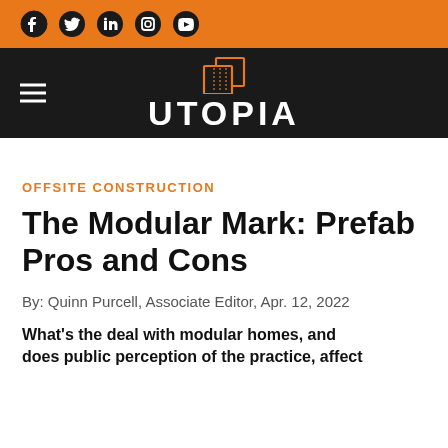Social media icons: Facebook, Twitter, LinkedIn, Instagram, YouTube
[Figure (logo): Utopia logo with orange geometric house icon above white bold text UTOPIA on dark background, with hamburger menu icon on the left]
OFFSITE CONSTRUCTION
The Modular Mark: Prefab Pros and Cons
By: Quinn Purcell, Associate Editor, Apr. 12, 2022
What's the deal with modular homes, and does public perception of the practice, affect